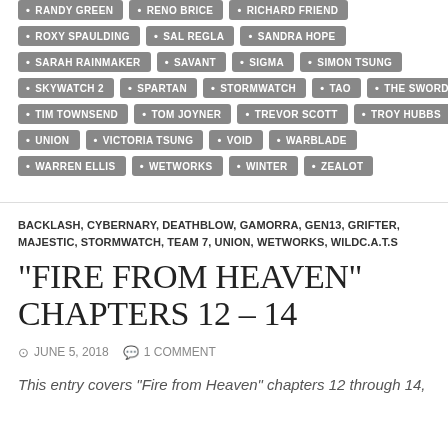RANDY GREEN • RENO BRICE • RICHARD FRIEND • ROXY SPAULDING • SAL REGLA • SANDRA HOPE • SARAH RAINMAKER • SAVANT • SIGMA • SIMON TSUNG • SKYWATCH 2 • SPARTAN • STORMWATCH • TAO • THE SWORD • TIM TOWNSEND • TOM JOYNER • TREVOR SCOTT • TROY HUBBS • UNION • VICTORIA TSUNG • VOID • WARBLADE • WARREN ELLIS • WETWORKS • WINTER • ZEALOT
BACKLASH, CYBERNARY, DEATHBLOW, GAMORRA, GEN13, GRIFTER, MAJESTIC, STORMWATCH, TEAM 7, UNION, WETWORKS, WILDC.A.T.S
“FIRE FROM HEAVEN” CHAPTERS 12 – 14
JUNE 5, 2018   1 COMMENT
This entry covers “Fire from Heaven” chapters 12 through 14,